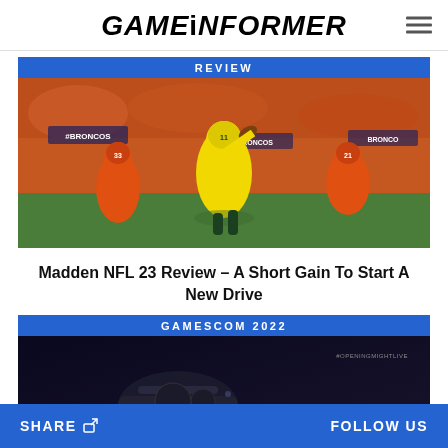GAMEINFORMER
REVIEW
[Figure (photo): Madden NFL 23 gameplay screenshot showing a Green Bay Packers player catching a ball surrounded by Denver Broncos defenders in a stadium full of fans]
Madden NFL 23 Review – A Short Gain To Start A New Drive
GAMESCOM 2022
[Figure (screenshot): Dark screenshot with #OPENINGMIGHTLIVE hashtag visible, showing a dark gaming-related scene]
SHARE   FOLLOW US